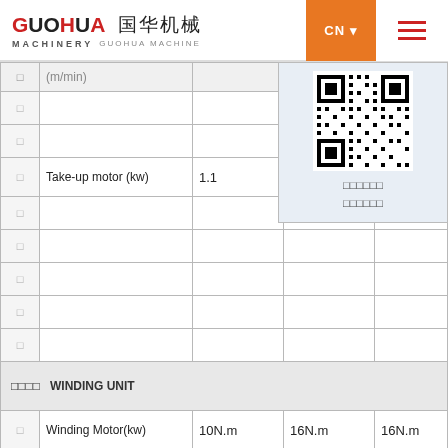GUOHUA MACHINERY 国华机械 GUOHUA MACHINE | CN
|  |  |  |  |  |
| --- | --- | --- | --- | --- |
|  | (m/min) |  |  |  |
|  |  |  |  |  |
|  |  |  |  |  |
|  | Take-up motor (kw) | 1.1 | 1.1 | 1.5 |
|  |  |  |  |  |
|  |  |  |  |  |
|  |  |  |  |  |
|  |  |  |  |  |
|  |  |  |  |  |
| □□□□  WINDING UNIT |  |  |  |  |
|  | Winding Motor(kw) | 10N.m | 16N.m | 16N.m |
|  |  |  |  |  |
[Figure (other): QR code with Chinese text below: 扫描关注 微信公众号]